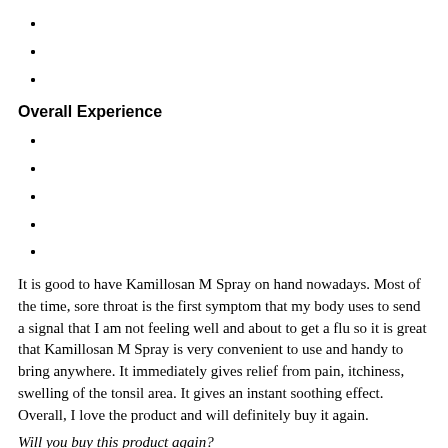Overall Experience
It is good to have Kamillosan M Spray on hand nowadays. Most of the time, sore throat is the first symptom that my body uses to send a signal that I am not feeling well and about to get a flu so it is great that Kamillosan M Spray is very convenient to use and handy to bring anywhere. It immediately gives relief from pain, itchiness, swelling of the tonsil area. It gives an instant soothing effect. Overall, I love the product and will definitely buy it again.
Will you buy this product again?
Yes
No
Maybe